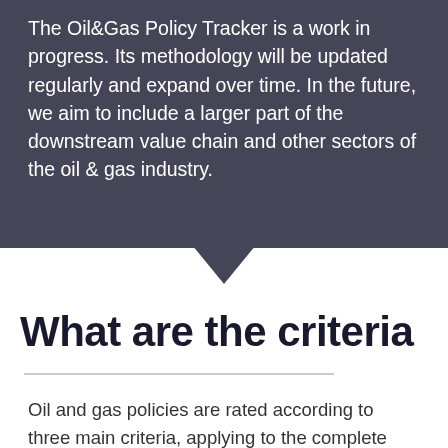The Oil&Gas Policy Tracker is a work in progress. Its methodology will be updated regularly and expand over time. In the future, we aim to include a larger part of the downstream value chain and other sectors of the oil & gas industry.
What are the criteria
Oil and gas policies are rated according to three main criteria, applying to the complete